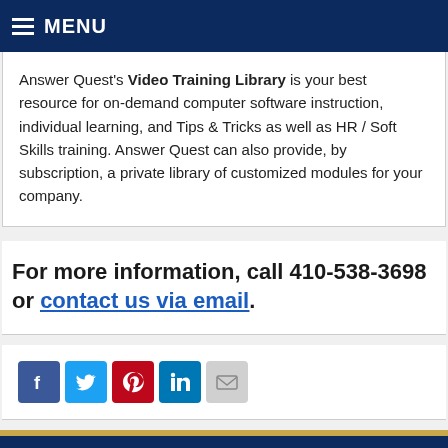MENU
Answer Quest's Video Training Library is your best resource for on-demand computer software instruction, individual learning, and Tips & Tricks as well as HR / Soft Skills training. Answer Quest can also provide, by subscription, a private library of customized modules for your company.
For more information, call 410-538-3698 or contact us via email.
[Figure (other): Social media share icons: Facebook, Twitter, Pinterest, LinkedIn, Email]
Answer Quest Technologies, Inc.